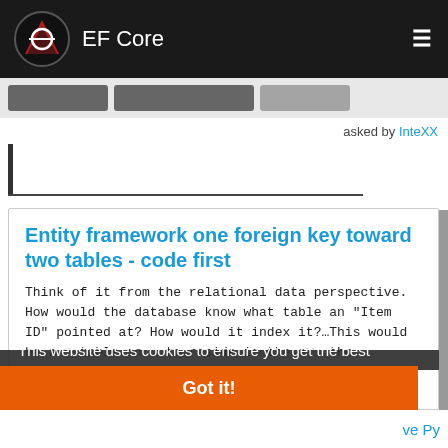EF Core
asked by InteXX
Entity framework one foreign key toward two tables - code first
Think of it from the relational data perspective. How would the database know what table an "Item ID" pointed at? How would it index it?…This would be a [duplicate] table on … to reside in the e[ntity]… the navigation properties. You can leverage ….Map(x => x.MapKey)… in EF…
This website uses cookies to ensure you get the best experience on our website. Learn more
Got it!
ve Py